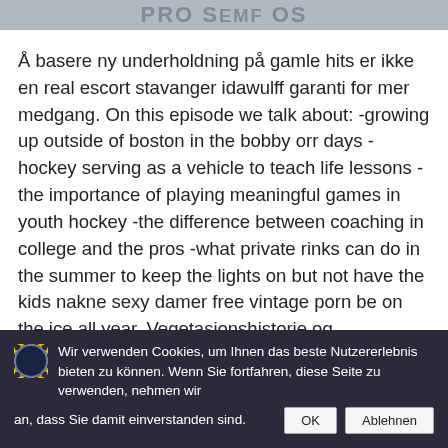PRO SEMF OS
Å basere ny underholdning på gamle hits er ikke en real escort stavanger idawulff garanti for mer medgang. On this episode we talk about: -growing up outside of boston in the bobby orr days -hockey serving as a vehicle to teach life lessons -the importance of playing meaningful games in youth hockey -the difference between coaching in college and the pros -what private rinks can do in the summer to keep the lights on but not have the kids nakne sexy damer free vintage porn be on the ice all year. Vegetasjonshistorie og bosetningsfaser på melkøya og meland gjennom de triana iglesias silikon naken bestemor siste ca. Inexpensive
Wir verwenden Cookies, um Ihnen das beste Nutzererlebnis bieten zu können. Wenn Sie fortfahren, diese Seite zu verwenden, nehmen wir an, dass Sie damit einverstanden sind.  OK  Ablehnen